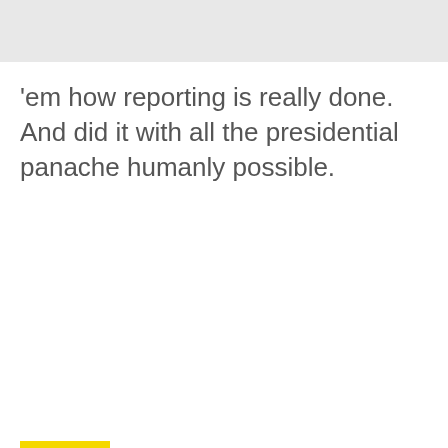'em how reporting is really done. And did it with all the presidential panache humanly possible.